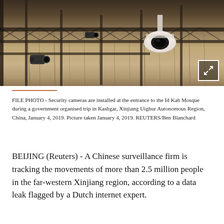[Figure (photo): Security cameras mounted on metal scaffolding structure, sepia-toned photograph. Multiple surveillance cameras including a dome-style camera visible against a background of bare trees.]
FILE PHOTO - Security cameras are installed at the entrance to the Id Kah Mosque during a government organised trip in Kashgar, Xinjiang Uighur Autonomous Region, China, January 4, 2019. Picture taken January 4, 2019. REUTERS/Ben Blanchard
BEIJING (Reuters) - A Chinese surveillance firm is tracking the movements of more than 2.5 million people in the far-western Xinjiang region, according to a data leak flagged by a Dutch internet expert.